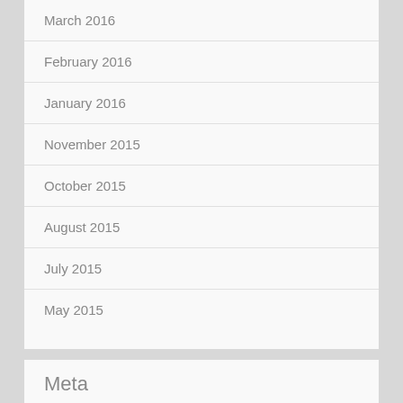March 2016
February 2016
January 2016
November 2015
October 2015
August 2015
July 2015
May 2015
Meta